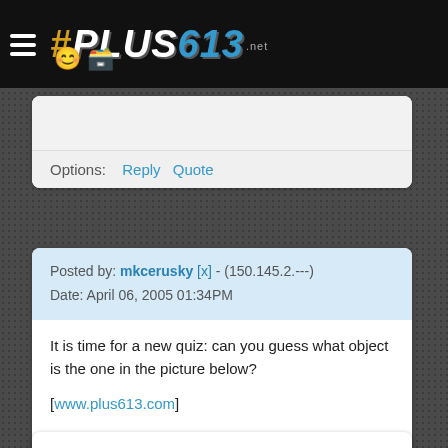#PLUS613 .net
Options: Reply Quote
Posted by: mkcerusky [x] - (150.145.2.---)
Date: April 06, 2005 01:34PM
It is time for a new quiz: can you guess what object is the one in the picture below?

[www.plus613.com]

Please post your answers as a comment to the picture 🙂
Options: Reply Quote